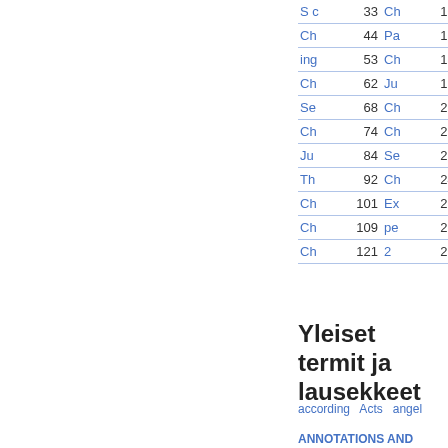| Label | Page | Label | Page |
| --- | --- | --- | --- |
| S c | 33 | Ch | 156 |
| Ch | 44 | Pa | 169 |
| ing | 53 | Ch | 175 |
| Ch | 62 | Ju | 196 |
| Se | 68 | Ch | 207 |
| Ch | 74 | Ch | 223 |
| Ju | 84 | Se | 233 |
| Th | 92 | Ch | 244 |
| Ch | 101 | Ex | 254 |
| Ch | 109 | pe | 278 |
| Ch | 121 | 2 | 291 |
Yleiset termit ja lausekkeet
according  Acts  angel
ANNOTATIONS AND REFLECTIONS